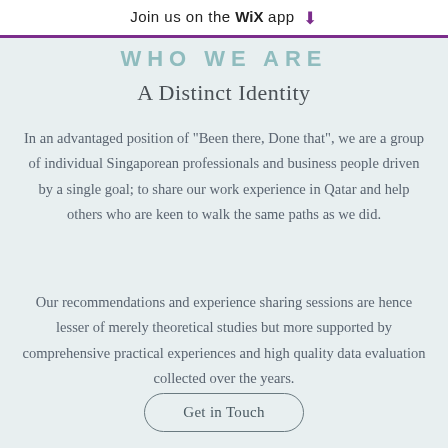Join us on the WiX app ↓
WHO WE ARE
A Distinct Identity
In an advantaged position of "Been there, Done that", we are a group of individual Singaporean professionals and business people driven by a single goal; to share our work experience in Qatar and help others who are keen to walk the same paths as we did.
Our recommendations and experience sharing sessions are hence lesser of merely theoretical studies but more supported by comprehensive practical experiences and high quality data evaluation collected over the years.
Get in Touch